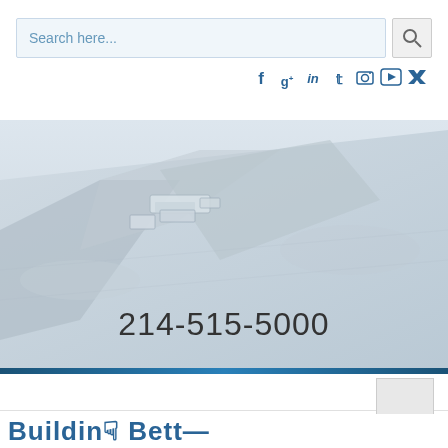Search here...
[Figure (screenshot): Social media icons row: Facebook, Google+, LinkedIn, Twitter, YouTube, Instagram]
[Figure (photo): Aerial or close-up photograph of a construction or engineering site showing concrete structures and a road or pathway in muted blue-grey tones, with phone number 214-515-5000 overlaid]
214-515-5000
Building Bett...